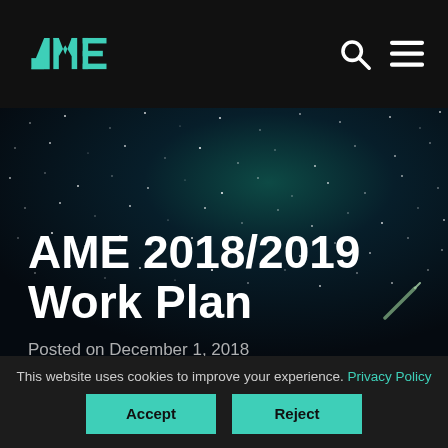AME
[Figure (photo): Dark starfield / night sky background image with teal/dark teal tones, used as hero banner background]
AME 2018/2019 Work Plan
Posted on December 1, 2018
This website uses cookies to improve your experience. Privacy Policy
Accept
Reject